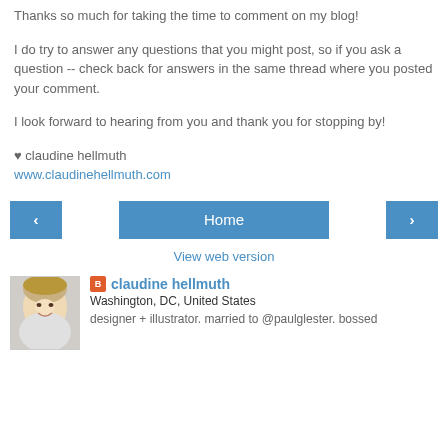Thanks so much for taking the time to comment on my blog!
I do try to answer any questions that you might post, so if you ask a question -- check back for answers in the same thread where you posted your comment.
I look forward to hearing from you and thank you for stopping by!
♥ claudine hellmuth
www.claudinehellmuth.com
< | Home | >
View web version
claudine hellmuth
Washington, DC, United States
designer + illustrator. married to @paulglester. bossed